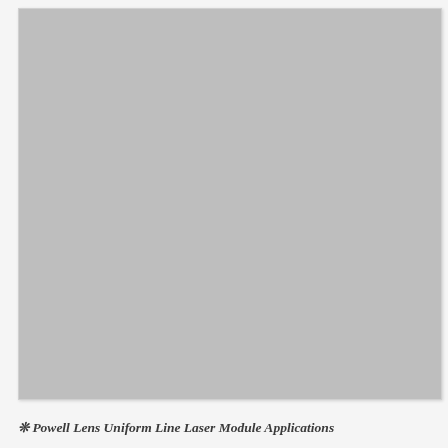[Figure (photo): A large gray rectangular image area, likely a photo or illustration related to Powell Lens Uniform Line Laser Module Applications. The image content is not discernible — appears as a uniform gray rectangle with a light border.]
❊ Powell Lens Uniform Line Laser Module Applications